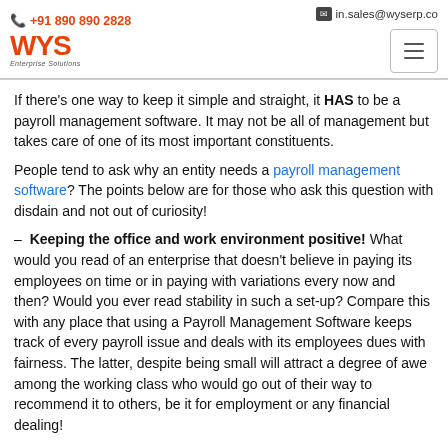+91 890 890 2828 | in.sales@wyserp.com | WYS Enterprise Solutions
If there's one way to keep it simple and straight, it HAS to be a payroll management software. It may not be all of management but takes care of one of its most important constituents.
People tend to ask why an entity needs a payroll management software? The points below are for those who ask this question with disdain and not out of curiosity!
– Keeping the office and work environment positive! What would you read of an enterprise that doesn't believe in paying its employees on time or in paying with variations every now and then? Would you ever read stability in such a set-up? Compare this with any place that using a Payroll Management Software keeps track of every payroll issue and deals with its employees dues with fairness. The latter, despite being small will attract a degree of awe among the working class who would go out of their way to recommend it to others, be it for employment or any financial dealing!